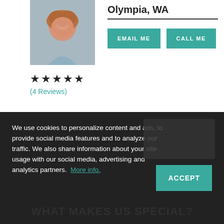[Figure (photo): Headshot photo of a woman with curly reddish-brown hair, smiling, wearing a light blue top]
Olympia, WA
EMAIL ME
CALL ME
★★★★★
(4 Reviews)
We use cookies to personalize content and ads, to provide social media features and to analyze our traffic. We also share information about your site usage with our social media, advertising and analytics partners. More info.
ACCEPT
WHAT MAKES US SPECIAL?